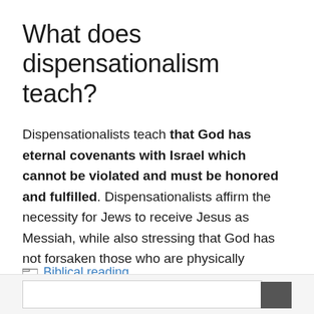What does dispensationalism teach?
Dispensationalists teach that God has eternal covenants with Israel which cannot be violated and must be honored and fulfilled. Dispensationalists affirm the necessity for Jews to receive Jesus as Messiah, while also stressing that God has not forsaken those who are physically descended from Abraham through Jacob.
Biblical reading